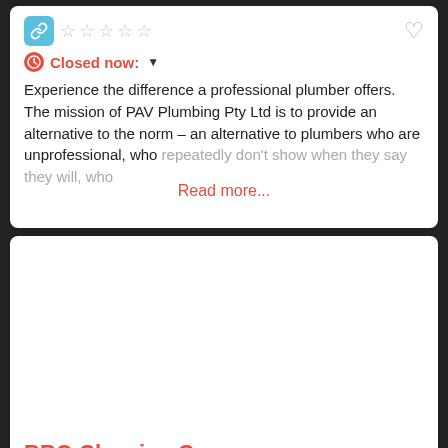[Figure (screenshot): Business listing card showing a link icon, 5 empty star ratings, a heart/favorite icon, a red clock icon with 'Closed now:' status text and dropdown arrow, and a description text about PAV Plumbing Pty Ltd with a 'Read more...' link overlay.]
Experience the difference a professional plumber offers. The mission of PAV Plumbing Pty Ltd is to provide an alternative to the norm – an alternative to plumbers who are unprofessional, who repeatedly don't show when they say they will, who
Read more...
BBQ Cleaning Company